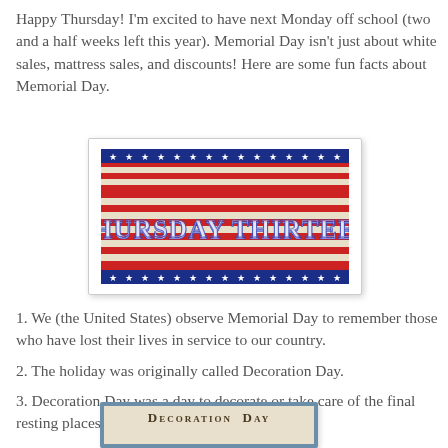Happy Thursday!  I'm excited to have next Monday off school (two and a half weeks left this year).  Memorial Day isn't just about white sales, mattress sales, and discounts!  Here are some fun facts about Memorial Day.
[Figure (illustration): Patriotic banner image with red, white and blue stripes and stars reading 'THURSDAY THIRTEEN' in stylized text]
1.  We (the United States) observe Memorial Day to remember those who have lost their lives in service to our country.
2.  The holiday was originally called Decoration Day.
3.  Decoration Day was a day to decorate or take care of the final resting places of loved ones who had passed on.
[Figure (illustration): Decoration Day image with blue border, cream/parchment background, text reading 'DECORATION DAY' with an illustration below]